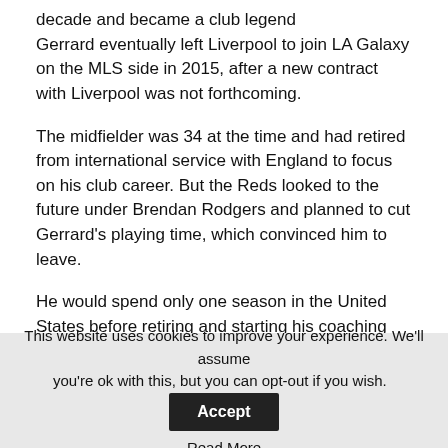decade and became a club legend
Gerrard eventually left Liverpool to join LA Galaxy on the MLS side in 2015, after a new contract with Liverpool was not forthcoming.
The midfielder was 34 at the time and had retired from international service with England to focus on his club career. But the Reds looked to the future under Brendan Rodgers and planned to cut Gerrard's playing time, which convinced him to leave.
He would spend only one season in the United States before retiring and starting his coaching career in the Liverpool academy.
But Ferdinand believes the Reds should have kept Gerrard
This website uses cookies to improve your experience. We'll assume you're ok with this, but you can opt-out if you wish.
Accept
Read More